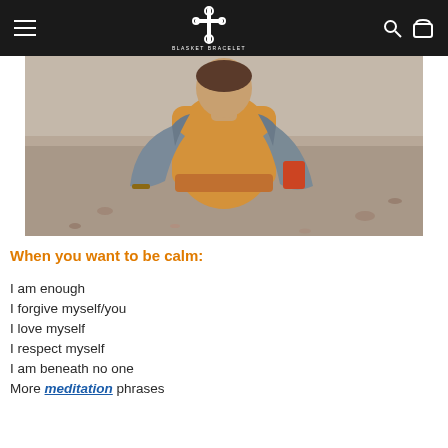BLASKET BRACELET
[Figure (photo): Person seen from behind, wearing a yellow/ochre t-shirt and grey denim jacket, sitting outdoors on sandy ground]
When you want to be calm:
I am enough
I forgive myself/you
I love myself
I respect myself
I am beneath no one
More meditation phrases